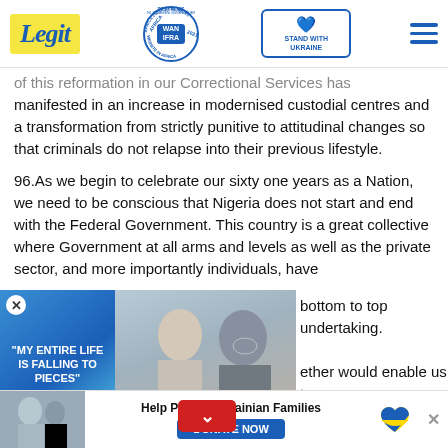Legit | WAN IFRA 2021 Best News Website in Africa | Stand with Ukraine
...of this reformation in our Correctional Services has manifested in an increase in modernised custodial centres and a transformation from strictly punitive to attitudinal changes so that criminals do not relapse into their previous lifestyle.
96.As we begin to celebrate our sixty one years as a Nation, we need to be conscious that Nigeria does not start and end with the Federal Government. This country is a great collective where Government at all arms and levels as well as the private sector, and more importantly individuals, have
[Figure (screenshot): Video ad overlay showing man and woman with text 'MY ENTIRE LIFE IS FALLING TO PIECES' on blue background, with play button]
...bottom to top undertaking. ...ether would enable us to secure
[Figure (infographic): Ukraine donate banner with photo of people and heart icon and Donate Now button]